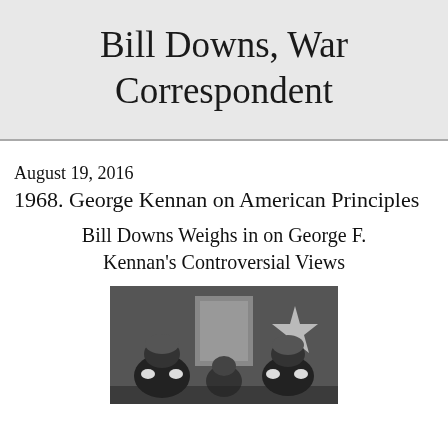Bill Downs, War Correspondent
August 19, 2016
1968. George Kennan on American Principles
Bill Downs Weighs in on George F. Kennan's Controversial Views
[Figure (photo): Black and white photograph showing military honor guard figures in helmets saluting, with a star visible in the background]